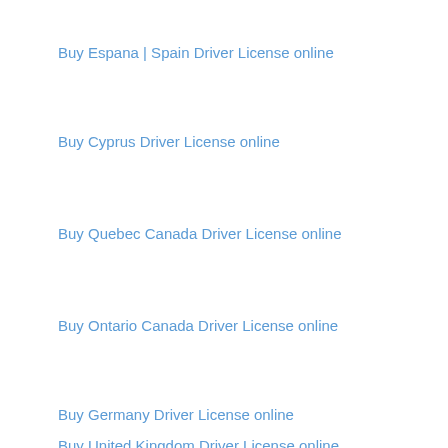Buy Espana | Spain Driver License online
Buy Cyprus Driver License online
Buy Quebec Canada Driver License online
Buy Ontario Canada Driver License online
Buy Germany Driver License online
Buy United Kingdom Driver License online